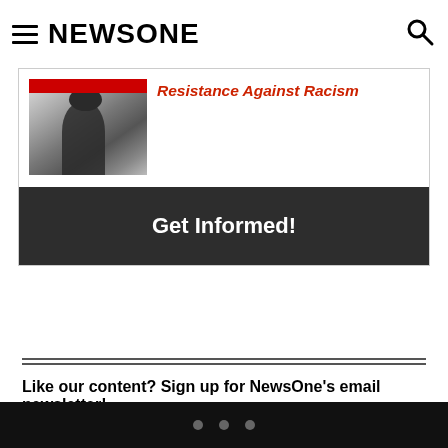NEWSONE
Resistance Against Racism
[Figure (photo): Black and white photo of a person seated on a bus, related to civil rights resistance against racism]
Get Informed!
Like our content? Sign up for NewsOne's email newsletter!